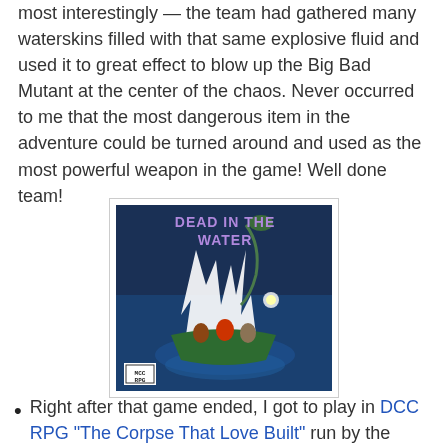most interestingly — the team had gathered many waterskins filled with that same explosive fluid and used it to great effect to blow up the Big Bad Mutant at the center of the chaos. Never occurred to me that the most dangerous item in the adventure could be turned around and used as the most powerful weapon in the game! Well done team!
[Figure (illustration): Book cover for 'Dead in the Water' MCC RPG adventure. Dark blue background showing a scene with fantastical creatures on a boat in turbulent water, with the title 'DEAD IN THE WATER' in purple/lavender text at the top. MCC RPG logo in bottom left corner.]
Right after that game ended, I got to play in DCC RPG "The Corpse That Love Built" run by the adventure's creator Stephen Newton! In this